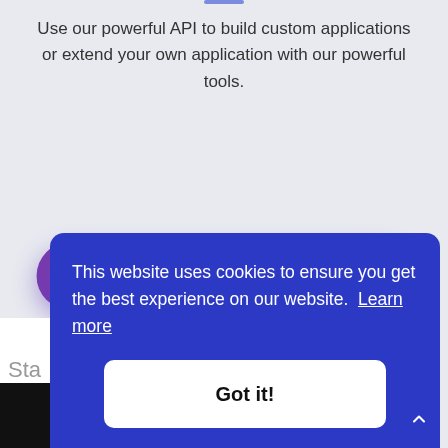Use our powerful API to build custom applications or extend your own application with our powerful tools.
[Figure (other): Purple gradient rounded button with text 'Get started for free']
This website uses cookies to ensure you get the best experience on our website. Learn more
[Figure (other): White rounded button with bold text 'Got it!']
Sta